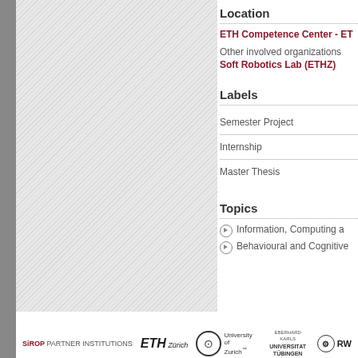[Figure (other): Gray textured left panel area of a web page showing a project image placeholder]
Location
ETH Competence Center - ET
Other involved organizations
Soft Robotics Lab (ETHZ)
Labels
Semester Project
Internship
Master Thesis
Topics
Information, Computing a
Behavioural and Cognitive
SiROP PARTNER INSTITUTIONS  ETH Zürich  University of Zurich  EBERHARD KARLS UNIVERSITAT TUBINGEN  RW